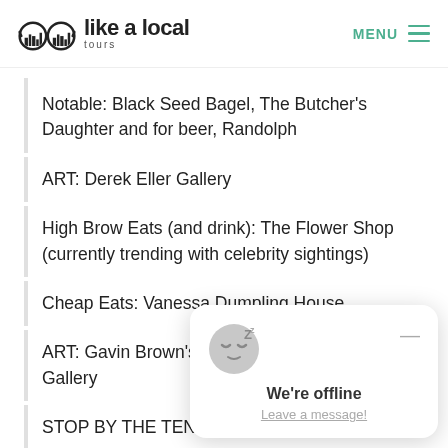Cheap Eats: Yonah Schimmel Knish (historic)
like a local tours — MENU
Notable: Black Seed Bagel, The Butcher's Daughter and for beer, Randolph
ART: Derek Eller Gallery
High Brow Eats (and drink): The Flower Shop (currently trending with celebrity sightings)
Cheap Eats: Vanessa Dumpling House
ART: Gavin Brown's Enterprise and Miguel Abreu Gallery
STOP BY THE TENEM…
ART: PERROTIN
DRINK: Max Fish — new…
[Figure (other): Chat widget overlay showing sleeping emoji icon with Z, minimize button, 'We're offline' text, and 'Leave a message!' link]